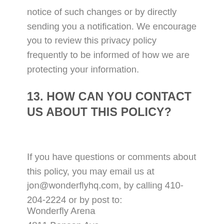notice of such changes or by directly sending you a notification. We encourage you to review this privacy policy frequently to be informed of how we are protecting your information.
13. HOW CAN YOU CONTACT US ABOUT THIS POLICY?
If you have questions or comments about this policy, you may email us at jon@wonderflyhq.com, by calling 410-204-2224 or by post to:
Wonderfly Arena
4811 Bonson Ave